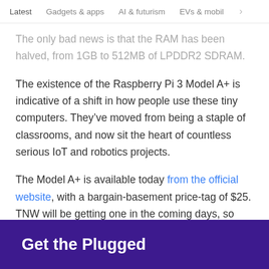Latest   Gadgets & apps   AI & futurism   EVs & mobil ›
The only bad news is that the RAM has been halved, from 1GB to 512MB of LPDDR2 SDRAM.
The existence of the Raspberry Pi 3 Model A+ is indicative of a shift in how people use these tiny computers. They’ve moved from being a staple of classrooms, and now sit the heart of countless serious IoT and robotics projects.
The Model A+ is available today from the official website, with a bargain-basement price-tag of $25. TNW will be getting one in the coming days, so stay tuned for our review!
Get the Plugged